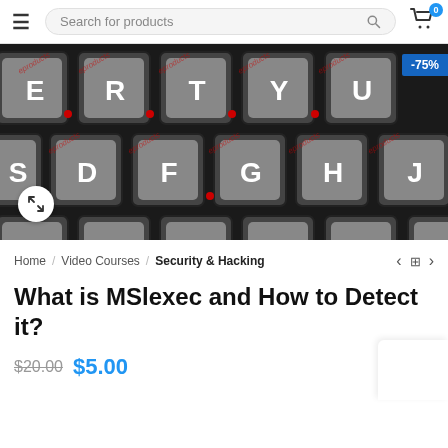Search for products
[Figure (photo): Close-up photo of a dark mechanical keyboard with grey keycaps showing letters E, R, T, Y, U, S, D, F, G, H, J, X, C, V, B, N. A -75% discount badge is shown in the top right corner of the image.]
Home / Video Courses / Security & Hacking
What is MSlexec and How to Detect it?
$20.00 $5.00